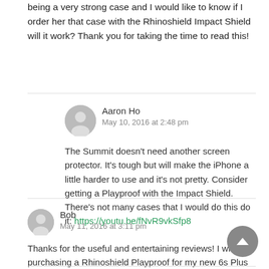being a very strong case and I would like to know if I order her that case with the Rhinoshield Impact Shield will it work? Thank you for taking the time to read this!
Aaron Ho
May 10, 2016 at 2:48 pm

The Summit doesn't need another screen protector. It's tough but will make the iPhone a little harder to use and it's not pretty. Consider getting a Playproof with the Impact Shield. There's not many cases that I would do this do it: https://youtu.be/fNvR9vkSfp8
Bob
May 11, 2016 at 3:11 pm

Thanks for the useful and entertaining reviews! I will be purchasing a Rhinoshield Playproof for my new 6s Plus after watching your videos.